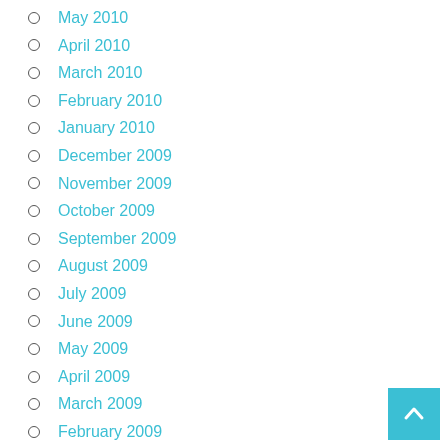May 2010
April 2010
March 2010
February 2010
January 2010
December 2009
November 2009
October 2009
September 2009
August 2009
July 2009
June 2009
May 2009
April 2009
March 2009
February 2009